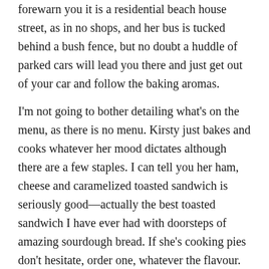forewarn you it is a residential beach house street, as in no shops, and her bus is tucked behind a bush fence, but no doubt a huddle of parked cars will lead you there and just get out of your car and follow the baking aromas.
I'm not going to bother detailing what's on the menu, as there is no menu. Kirsty just bakes and cooks whatever her mood dictates although there are a few staples. I can tell you her ham, cheese and caramelized toasted sandwich is seriously good—actually the best toasted sandwich I have ever had with doorsteps of amazing sourdough bread. If she's cooking pies don't hesitate, order one, whatever the flavour. The cheese scones are wicked and frankly, whatever she's baking, just go for it. There's also some wonderful retro touches, in keeping with the buses era, and homemade favourites like